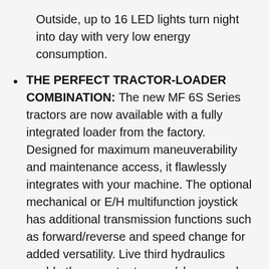Outside, up to 16 LED lights turn night into day with very low energy consumption.
THE PERFECT TRACTOR-LOADER COMBINATION: The new MF 6S Series tractors are now available with a fully integrated loader from the factory. Designed for maximum maneuverability and maintenance access, it flawlessly integrates with your machine. The optional mechanical or E/H multifunction joystick has additional transmission functions such as forward/reverse and speed change for added versatility. Live third hydraulics enable the operator to open/close a grab and tip or crowd an implement at the same time. The new, slim hood and exhaust pipe offers superb visibility, while the optional Visioline